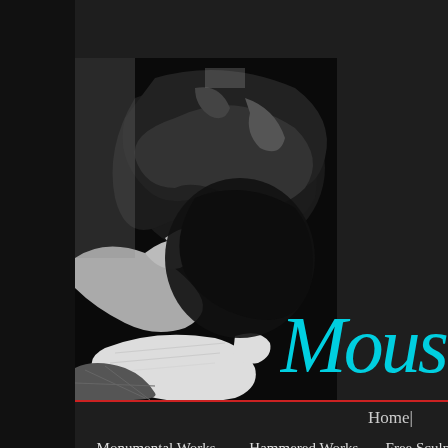[Figure (photo): Black and white photograph of hands sculpting/working with dark material, artist's studio setting]
Mousta
Home|
Monumental Works
Hammered Works
Free Sculptures
Co
Gold Columns
Windsock